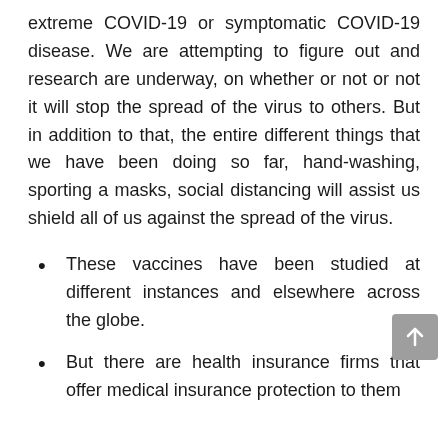extreme COVID-19 or symptomatic COVID-19 disease. We are attempting to figure out and research are underway, on whether or not or not it will stop the spread of the virus to others. But in addition to that, the entire different things that we have been doing so far, hand-washing, sporting a masks, social distancing will assist us shield all of us against the spread of the virus.
These vaccines have been studied at different instances and elsewhere across the globe.
But there are health insurance firms that offer medical insurance protection to them